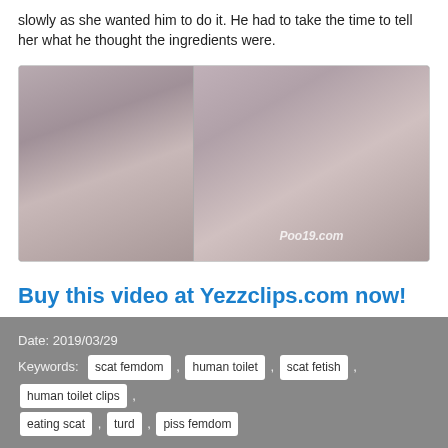slowly as she wanted him to do it. He had to take the time to tell her what he thought the ingredients were.
[Figure (photo): Two-panel composite photo with a watermark 'Poo19.com']
Buy this video at Yezzclips.com now!
Date: 2019/03/29
Keywords: scat femdom , human toilet , scat fetish , human toilet clips , eating scat , turd , piss femdom